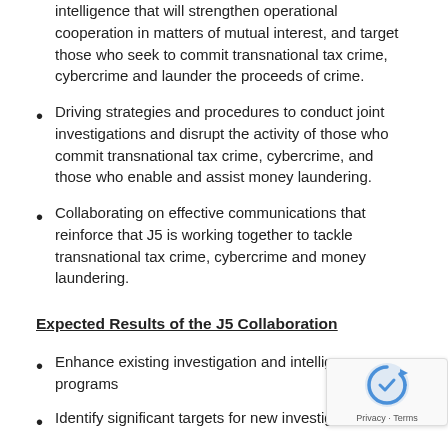intelligence that will strengthen operational cooperation in matters of mutual interest, and target those who seek to commit transnational tax crime, cybercrime and launder the proceeds of crime.
Driving strategies and procedures to conduct joint investigations and disrupt the activity of those who commit transnational tax crime, cybercrime, and those who enable and assist money laundering.
Collaborating on effective communications that reinforce that J5 is working together to tackle transnational tax crime, cybercrime and money laundering.
Expected Results of the J5 Collaboration
Enhance existing investigation and intelligence programs
Identify significant targets for new investigations
Improve the tactical intelligence threat picture now and